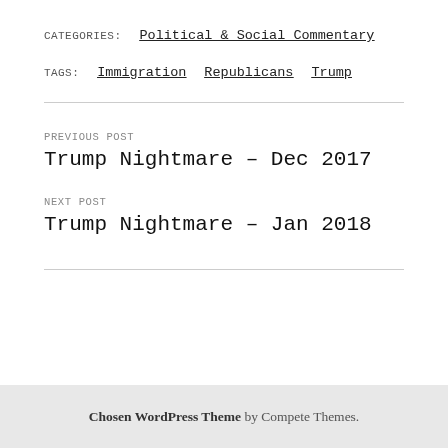CATEGORIES: Political & Social Commentary
TAGS: Immigration  Republicans  Trump
PREVIOUS POST
Trump Nightmare – Dec 2017
NEXT POST
Trump Nightmare – Jan 2018
Chosen WordPress Theme by Compete Themes.